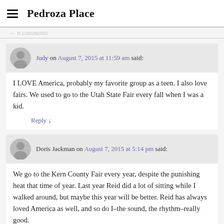Pedroza Place
Judy on August 7, 2015 at 11:59 am said:
I LOVE America, probably my favorite group as a teen. I also love fairs. We used to go to the Utah State Fair every fall when I was a kid.
Reply ↓
Doris Jackman on August 7, 2015 at 5:14 pm said:
We go to the Kern County Fair every year, despite the punishing heat that time of year. Last year Reid did a lot of sitting while I walked around, but maybe this year will be better. Reid has always loved America as well, and so do I–the sound, the rhythm–really good.
Reply ↓
Leave a Reply